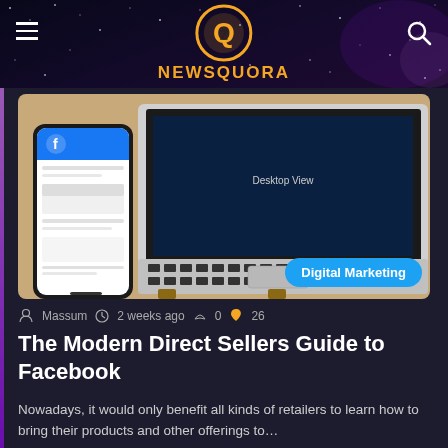[Figure (logo): NewsQuora logo with orange circular Q icon and NEWSQUORA text in orange]
[Figure (photo): Photo of a smartphone showing Facebook app next to a MacBook laptop on a wooden stand, with 'Digital Marketing' badge overlay]
Massum  2 weeks ago  0  26
The Modern Direct Sellers Guide to Facebook
Nowadays, it would only benefit all kinds of retailers to learn how to bring their products and other offerings to…